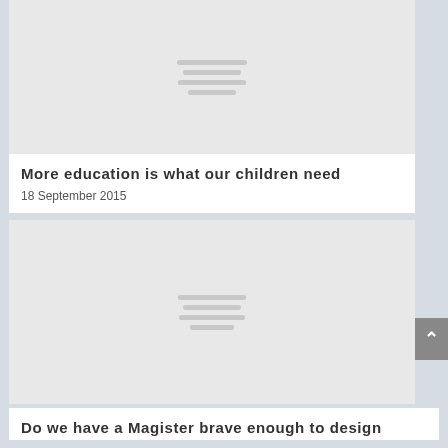[Figure (illustration): Placeholder image with centered horizontal lines pattern on light gray background, top of page]
More education is what our children need
18 September 2015
[Figure (illustration): Placeholder image with centered horizontal lines pattern on light gray background, middle of page]
Do we have a Magister brave enough to design